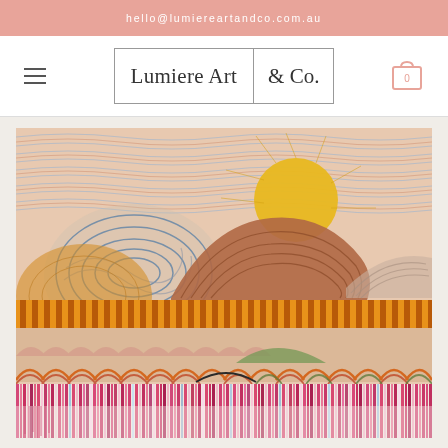hello@lumiereartandco.com.au
[Figure (logo): Lumiere Art & Co. logo in a rectangular bordered box with hamburger menu icon on left and shopping cart icon on right]
[Figure (photo): Colourful Australian Indigenous-style artwork painting featuring abstract landscape with rolling hills, a large sun, horizontal striped bands in orange/yellow, arc patterns in orange/red/green, and vertical striped bands in pink/magenta/purple at the bottom]